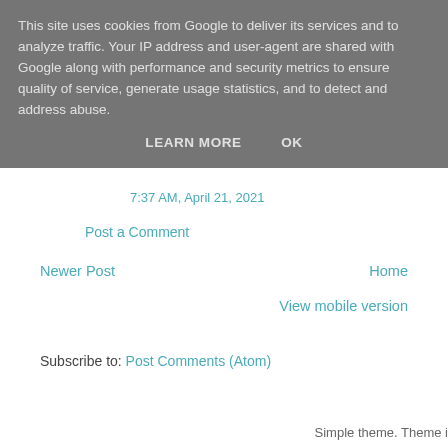This site uses cookies from Google to deliver its services and to analyze traffic. Your IP address and user-agent are shared with Google along with performance and security metrics to ensure quality of service, generate usage statistics, and to detect and address abuse.
LEARN MORE   OK
7:37 AM, April 21, 2021
Post a Comment
Newer Post
Home
View mobile version
Subscribe to: Post Comments (Atom)
Simple theme. Theme i